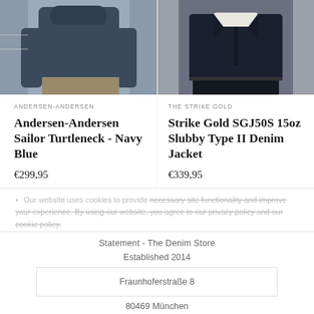[Figure (photo): Man wearing navy blue turtleneck sweater, partial torso view]
[Figure (photo): Man wearing dark denim jacket with white shirt underneath, partial torso view]
ANDERSEN-ANDERSEN
THE STRIKE GOLD
Andersen-Andersen Sailor Turtleneck - Navy Blue
Strike Gold SGJ50S 15oz Slubby Type II Denim Jacket
€299,95
€339,95
Our website uses cookies to provide necessary site functionality and improve your experience. By using our website, you agree to our privacy policy and our cookie policy.
Learn More
Statement - The Denim Store
Established 2014
Fraunhoferstraße 8
80469 München